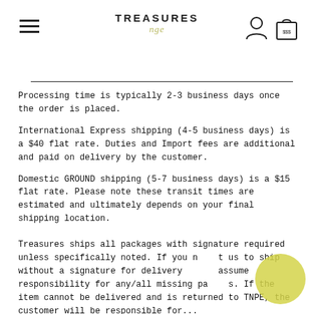TREASURES nge
Processing time is typically 2-3 business days once the order is placed.
International Express shipping (4-5 business days) is a $40 flat rate. Duties and Import fees are additional and paid on delivery by the customer.
Domestic GROUND shipping (5-7 business days) is a $15 flat rate. Please note these transit times are estimated and ultimately depends on your final shipping location.
Treasures ships all packages with signature required unless specifically noted. If you need us to ship without a signature for delivery, assume responsibility for any/all missing packages. If the item cannot be delivered and is returned to TNGE, the customer will be responsible for...